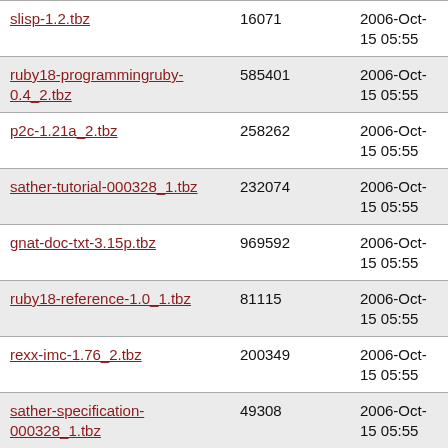| slisp-1.2.tbz | 16071 | 2006-Oct-15 05:55 |
| ruby18-programmingruby-0.4_2.tbz | 585401 | 2006-Oct-15 05:55 |
| p2c-1.21a_2.tbz | 258262 | 2006-Oct-15 05:55 |
| sather-tutorial-000328_1.tbz | 232074 | 2006-Oct-15 05:55 |
| gnat-doc-txt-3.15p.tbz | 969592 | 2006-Oct-15 05:55 |
| ruby18-reference-1.0_1.tbz | 81115 | 2006-Oct-15 05:55 |
| rexx-imc-1.76_2.tbz | 200349 | 2006-Oct-15 05:55 |
| sather-specification-000328_1.tbz | 49308 | 2006-Oct-15 05:55 |
| ruby-man-1.4.6.tbz | 58275 | 2006-Oct-15 05:55 |
| gnat-doc-info-3.15p.tbz | 1027769 | 2006-Oct-15 05:55 |
| php_doc-kr-20061007.tbz | 1599741 | 2006-Oct-15 05:55 |